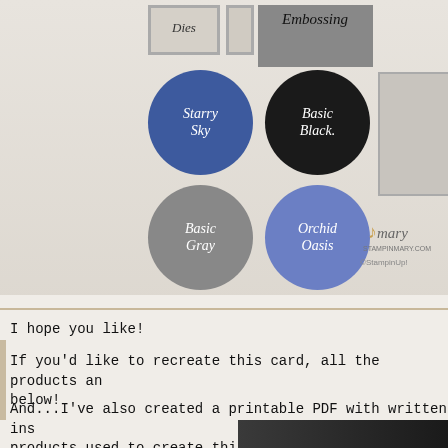[Figure (illustration): Card-making supply image showing color swatches as circles: Starry Sky (blue), Basic Black (black), Basic Gray (gray), Orchid Oasis (periwinkle blue). Also shows Dies label, Embossing label, and a Mary/StampinUp logo watermark.]
I hope you like!
If you'd like to recreate this card, all the products are listed below!
And...I've also created a printable PDF with written instructions and products used to create this project. You can download it by clicking this image:
[Figure (photo): Bottom partial image strip showing a craft/card project photo]